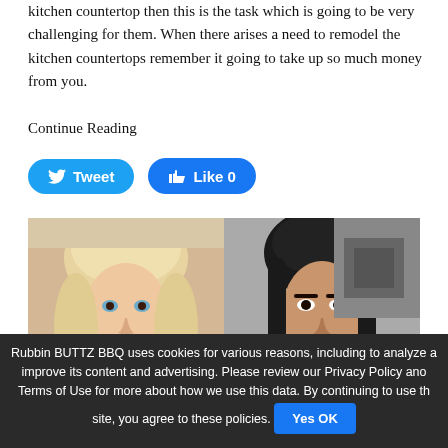kitchen countertop then this is the task which is going to be very challenging for them. When there arises a need to remodel the kitchen countertops remember it going to take up so much money from you.
Continue Reading
[Figure (screenshot): Tweet and Like 0 social media share buttons]
[Figure (photo): Side-by-side photos of two women: left is a blonde woman, right is a brunette woman]
Rubbin BUTTZ BBQ uses cookies for various reasons, including to analyze a improve its content and advertising. Please review our Privacy Policy ano Terms of Use for more about how we use this data. By continuing to use th site, you agree to these policies. Yes OK